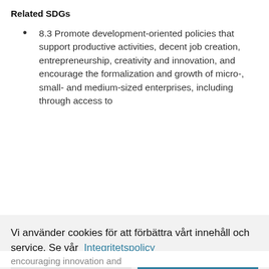Related SDGs
8.3 Promote development-oriented policies that support productive activities, decent job creation, entrepreneurship, creativity and innovation, and encourage the formalization and growth of micro-, small- and medium-sized enterprises, including through access to
Vi använder cookies för att förbättra vårt innehåll och service. Se vår  Integritetspolicy
Jag godkänner inte
Jag godkänner
encouraging innovation and